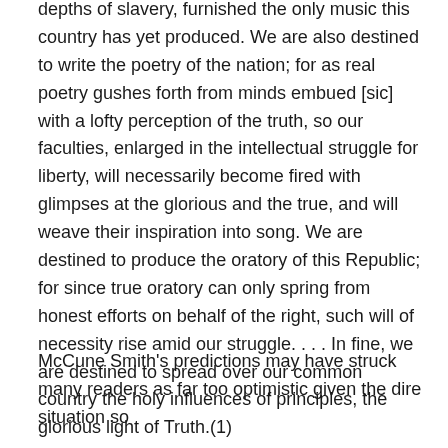depths of slavery, furnished the only music this country has yet produced. We are also destined to write the poetry of the nation; for as real poetry gushes forth from minds embued [sic] with a lofty perception of the truth, so our faculties, enlarged in the intellectual struggle for liberty, will necessarily become fired with glimpses at the glorious and the true, and will weave their inspiration into song. We are destined to produce the oratory of this Republic; for since true oratory can only spring from honest efforts on behalf of the right, such will of necessity rise amid our struggle. . . . In fine, we are destined to spread over our common country the holy influences of principles, the glorious light of Truth.(1)
McCune Smith's predictions may have struck many readers as far too optimistic given the dire situation so